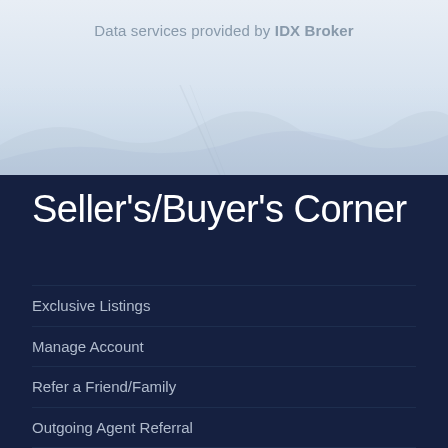[Figure (photo): Light blue aerial landscape background photo with misty terrain]
Data services provided by IDX Broker
Seller's/Buyer's Corner
Exclusive Listings
Manage Account
Refer a Friend/Family
Outgoing Agent Referral
What's my home worth?
Closing Costs Assistance